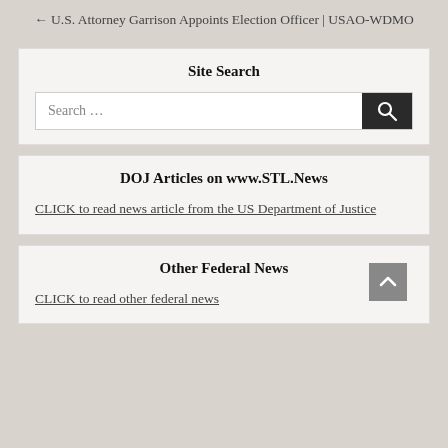← U.S. Attorney Garrison Appoints Election Officer | USAO-WDMO
Site Search
Search …
DOJ Articles on www.STL.News
CLICK to read news article from the US Department of Justice
Other Federal News
CLICK to read other federal news